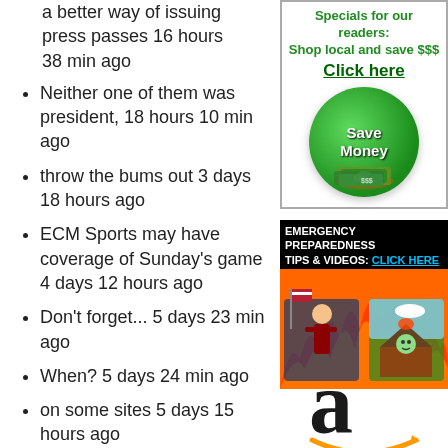a better way of issuing press passes 16 hours 38 min ago
Neither one of them was president, 18 hours 10 min ago
throw the bums out 3 days 18 hours ago
ECM Sports may have coverage of Sunday's game 4 days 12 hours ago
Don't forget... 5 days 23 min ago
When? 5 days 24 min ago
on some sites 5 days 15 hours ago
[Figure (infographic): Specials for our readers: Shop local and save $$$ Click here - green Save Money button with cash pile]
[Figure (infographic): Emergency Preparedness Tips & Videos: Click Here - banner with firefighter and burning house illustrations]
[Figure (logo): Amazon logo - large black 'a' with orange smile arrow]